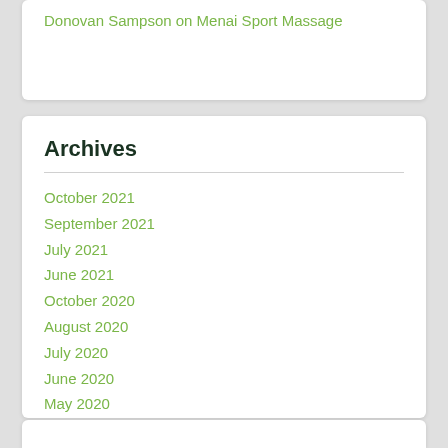Donovan Sampson on Menai Sport Massage
Archives
October 2021
September 2021
July 2021
June 2021
October 2020
August 2020
July 2020
June 2020
May 2020
April 2020
February 2020
December 2019
September 2019